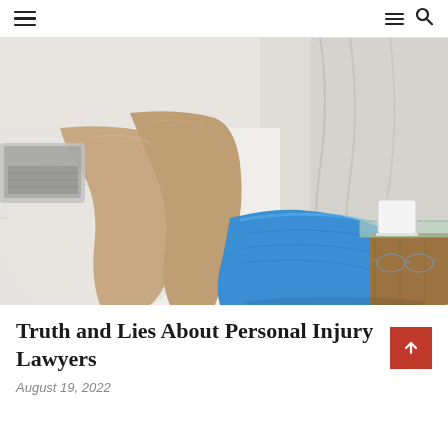Navigation header with hamburger menu and search icon
[Figure (photo): Person resting on a couch with a blue cast on their foot/ankle, elevated on a wooden side table. A white mug and glasses are also visible on the table. A laptop is visible in the background.]
Truth and Lies About Personal Injury Lawyers
August 19, 2022